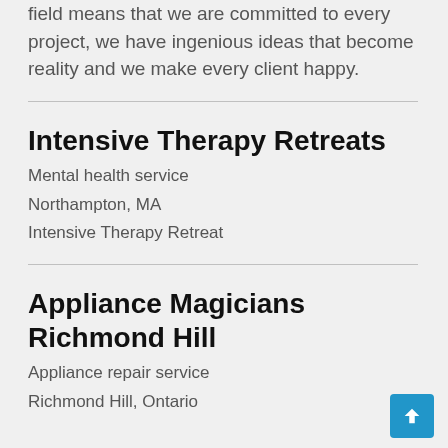field means that we are committed to every project, we have ingenious ideas that become reality and we make every client happy.
Intensive Therapy Retreats
Mental health service
Northampton, MA
Intensive Therapy Retreat
Appliance Magicians Richmond Hill
Appliance repair service
Richmond Hill, Ontario